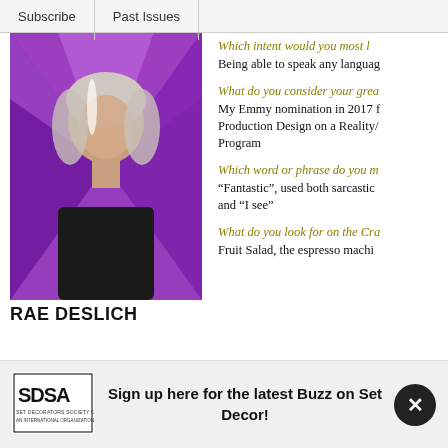Subscribe | Past Issues
[Figure (photo): Profile photo of Rae Deslich, woman with light hair and dark jacket, purple abstract background]
RAE DESLICH
Partial Credits:
ADAM RUINS EVERYTHING (S1)
ALONE TOGETHER
Which intent would you most [truncated]
Being able to speak any languag[e] [truncated]
What do you consider your grea[test achievement?]
My Emmy nomination in 2017 f[or] Production Design on a Reality/[Competition] Program
Which word or phrase do you m[ost use?]
“Fantastic”, used both sarcastic[ally] and “I see”
What do you look for on the Cra[ft Services table?]
Fruit Salad, the espresso machi[ne]
Sign up here for the latest Buzz on Set Decor!